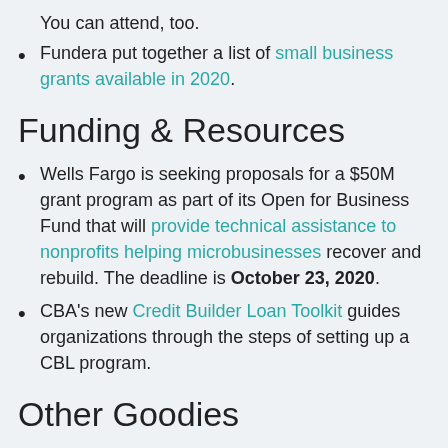You can attend, too.
Fundera put together a list of small business grants available in 2020.
Funding & Resources
Wells Fargo is seeking proposals for a $50M grant program as part of its Open for Business Fund that will provide technical assistance to nonprofits helping microbusinesses recover and rebuild. The deadline is October 23, 2020.
CBA's new Credit Builder Loan Toolkit guides organizations through the steps of setting up a CBL program.
Other Goodies
Free Webinar: The Cal Asian Chamber of Commerce is holding a webinar on California